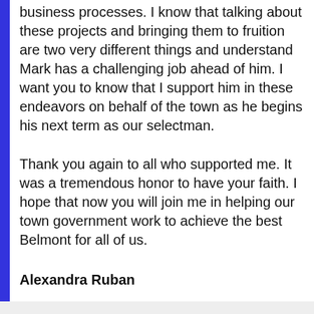…implement PeopleSoft modernizations, and streamlining business processes. I know that talking about these projects and bringing them to fruition are two very different things and understand Mark has a challenging job ahead of him. I want you to know that I support him in these endeavors on behalf of the town as he begins his next term as our selectman.
Thank you again to all who supported me. It was a tremendous honor to have your faith. I hope that now you will join me in helping our town government work to achieve the best Belmont for all of us.
Alexandra Ruban